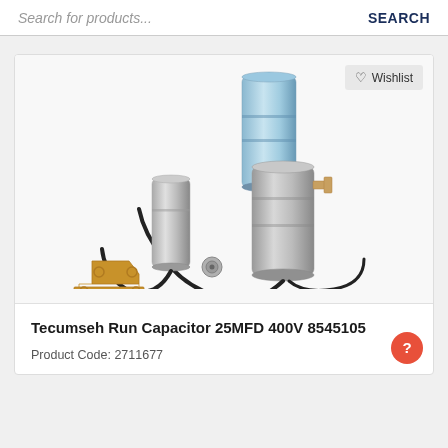Search for products...    SEARCH
[Figure (photo): Product photo showing Tecumseh run capacitor kit components: three cylindrical metal capacitors (two silver/grey, one blue metallic), black wiring leads, copper bracket connector, and a small metal nut/fitting, on a white background. A 'Wishlist' button with heart icon appears in the top right of the image.]
Tecumseh Run Capacitor 25MFD 400V 8545105
Product Code: 2711677